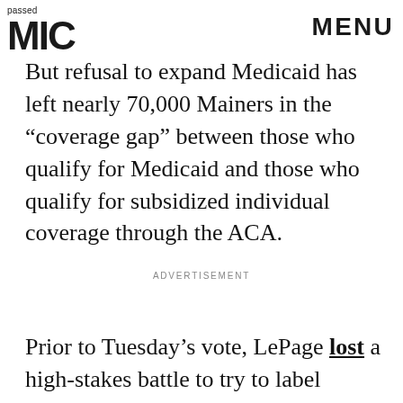passed | MIC | MENU
But refusal to expand Medicaid has left nearly 70,000 Mainers in the “coverage gap” between those who qualify for Medicaid and those who qualify for subsidized individual coverage through the ACA.
ADVERTISEMENT
Prior to Tuesday’s vote, LePage lost a high-stakes battle to try to label Medicaid as “welfare” in the language of the ballot initiative.